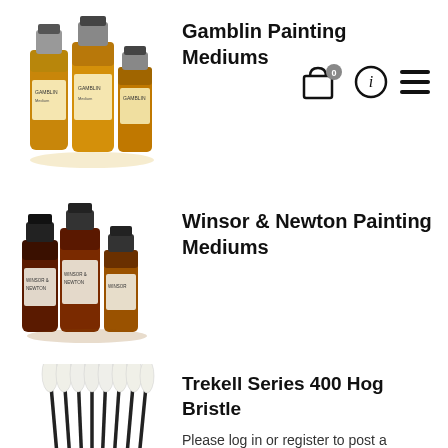[Figure (photo): Group of Gamblin painting medium bottles with amber/yellow liquid]
Gamblin Painting Mediums
[Figure (infographic): Shopping cart icon with badge '0', info circle icon, hamburger menu icon]
[Figure (photo): Group of Winsor & Newton painting medium bottles with dark amber liquid]
Winsor & Newton Painting Mediums
[Figure (photo): Set of Trekell Series 400 Hog Bristle brushes fanned out with black handles]
Trekell Series 400 Hog Bristle
Please log in or register to post a comment.
|
INFORMATION